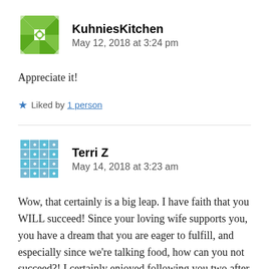[Figure (logo): Green patchwork/quilt style avatar icon for KuhniesKitchen]
KuhniesKitchen
May 12, 2018 at 3:24 pm
Appreciate it!
★ Liked by 1 person
[Figure (logo): Teal/blue patchwork quilt style avatar icon for Terri Z]
Terri Z
May 14, 2018 at 3:23 am
Wow, that certainly is a big leap. I have faith that you WILL succeed! Since your loving wife supports you, you have a dream that you are eager to fulfill, and especially since we're talking food, how can you not succeed?! I certainly enjoyed following you two after you left Pa. You